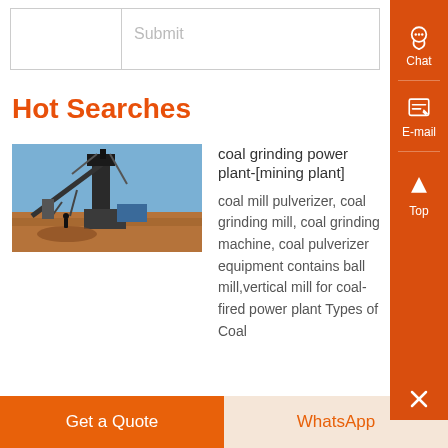|  | Submit |
Hot Searches
[Figure (photo): Mining plant with conveyor belt structure against a blue sky, with red soil ground]
coal grinding power plant-[mining plant]
coal mill pulverizer, coal grinding mill, coal grinding machine, coal pulverizer equipment contains ball mill,vertical mill for coal-fired power plant Types of Coal
Get a Quote
WhatsApp